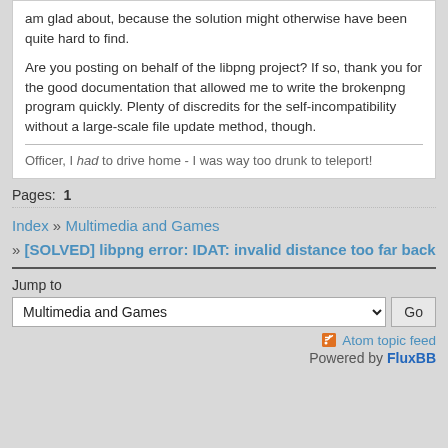am glad about, because the solution might otherwise have been quite hard to find.
Are you posting on behalf of the libpng project?  If so, thank you for the good documentation that allowed me to write the brokenpng program quickly.  Plenty of discredits for the self-incompatibility without a large-scale file update method, though.
Officer, I had to drive home - I was way too drunk to teleport!
Pages:  1
Index » Multimedia and Games » [SOLVED] libpng error: IDAT: invalid distance too far back
Jump to
Multimedia and Games
Go
Atom topic feed
Powered by FluxBB